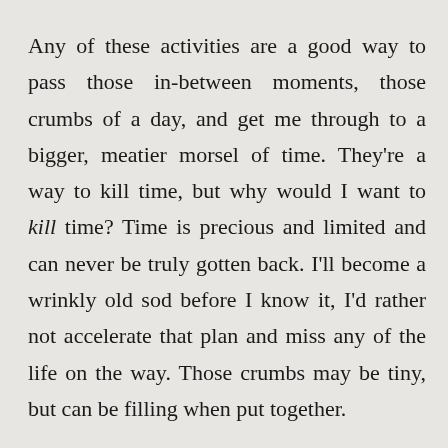Any of these activities are a good way to pass those in-between moments, those crumbs of a day, and get me through to a bigger, meatier morsel of time. They're a way to kill time, but why would I want to kill time? Time is precious and limited and can never be truly gotten back. I'll become a wrinkly old sod before I know it, I'd rather not accelerate that plan and miss any of the life on the way. Those crumbs may be tiny, but can be filling when put together.